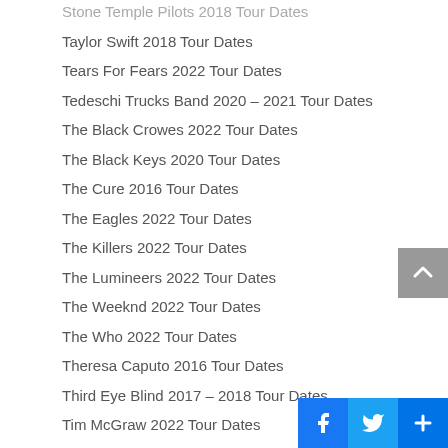Stone Temple Pilots 2018 Tour Dates
Taylor Swift 2018 Tour Dates
Tears For Fears 2022 Tour Dates
Tedeschi Trucks Band 2020 – 2021 Tour Dates
The Black Crowes 2022 Tour Dates
The Black Keys 2020 Tour Dates
The Cure 2016 Tour Dates
The Eagles 2022 Tour Dates
The Killers 2022 Tour Dates
The Lumineers 2022 Tour Dates
The Weeknd 2022 Tour Dates
The Who 2022 Tour Dates
Theresa Caputo 2016 Tour Dates
Third Eye Blind 2017 – 2018 Tour Dates
Tim McGraw 2022 Tour Dates